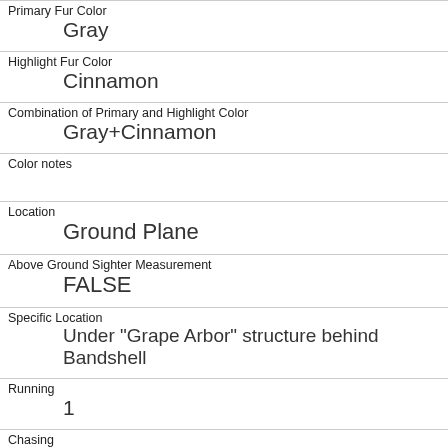| Primary Fur Color | Gray |
| Highlight Fur Color | Cinnamon |
| Combination of Primary and Highlight Color | Gray+Cinnamon |
| Color notes |  |
| Location | Ground Plane |
| Above Ground Sighter Measurement | FALSE |
| Specific Location | Under "Grape Arbor" structure behind Bandshell |
| Running | 1 |
| Chasing | 0 |
| Climbing | 0 |
| Eating |  |